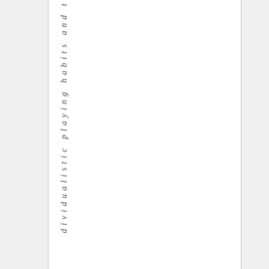dividualistic playing habits and t